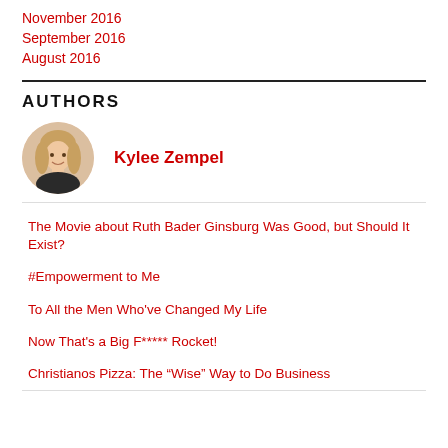November 2016
September 2016
August 2016
AUTHORS
[Figure (photo): Circular portrait photo of Kylee Zempel]
Kylee Zempel
The Movie about Ruth Bader Ginsburg Was Good, but Should It Exist?
#Empowerment to Me
To All the Men Who've Changed My Life
Now That's a Big F***** Rocket!
Christianos Pizza: The “Wise” Way to Do Business